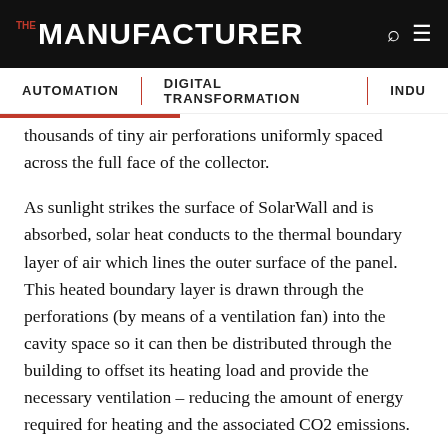THE MANUFACTURER
AUTOMATION | DIGITAL TRANSFORMATION | INDU...
thousands of tiny air perforations uniformly spaced across the full face of the collector.
As sunlight strikes the surface of SolarWall and is absorbed, solar heat conducts to the thermal boundary layer of air which lines the outer surface of the panel. This heated boundary layer is drawn through the perforations (by means of a ventilation fan) into the cavity space so it can then be distributed through the building to offset its heating load and provide the necessary ventilation – reducing the amount of energy required for heating and the associated CO2 emissions.
Corus Colors and CA Group installed Solarwall on the